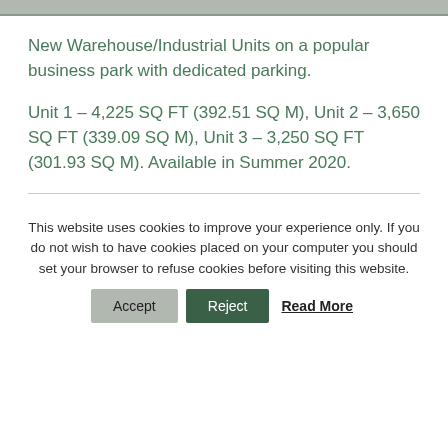New Warehouse/Industrial Units on a popular business park with dedicated parking.
Unit 1 – 4,225 SQ FT (392.51 SQ M), Unit 2 – 3,650 SQ FT (339.09 SQ M), Unit 3 – 3,250 SQ FT (301.93 SQ M). Available in Summer 2020.
This website uses cookies to improve your experience only. If you do not wish to have cookies placed on your computer you should set your browser to refuse cookies before visiting this website.